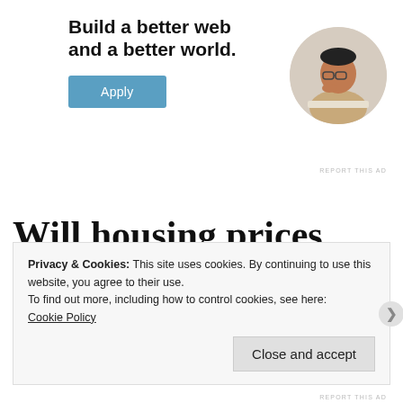[Figure (other): Advertisement banner with bold text 'Build a better web and a better world.' and a blue Apply button, alongside a circular photo of a man thinking at a desk]
REPORT THIS AD
Will housing prices drop in Vancouver?
Privacy & Cookies: This site uses cookies. By continuing to use this website, you agree to their use.
To find out more, including how to control cookies, see here:
Cookie Policy
Close and accept
REPORT THIS AD